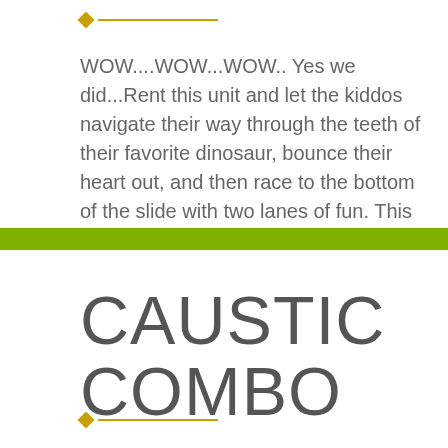[Figure (other): Decorative top element: small yellow diamond with a horizontal yellow line to its right]
WOW....WOW...WOW.. Yes we did...Rent this unit and let the kiddos navigate their way through the teeth of their favorite dinosaur, bounce their heart out, and then race to the bottom of the slide with two lanes of fun. This unit can be used WET/DRY!!!
[Figure (other): Green horizontal bar divider spanning full page width]
CAUSTIC COMBO
[Figure (other): Decorative bottom element: small yellow diamond with a horizontal yellow line to its right]